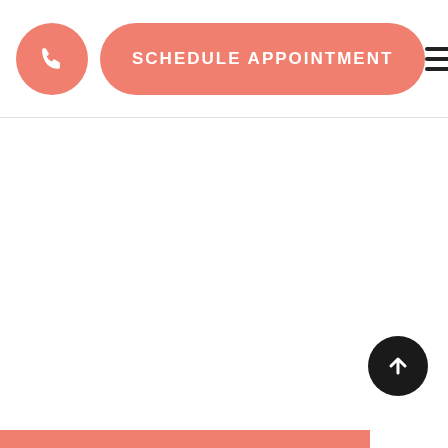[Figure (screenshot): Navigation header bar with a round salmon/coral phone icon button, a pill-shaped 'SCHEDULE APPOINTMENT' button in coral, and a hamburger menu icon on the right]
[Figure (screenshot): White content area, largely blank]
[Figure (screenshot): Dark circular scroll-to-top arrow button in the lower right]
[Figure (screenshot): Coral/salmon colored footer bar at the bottom left]